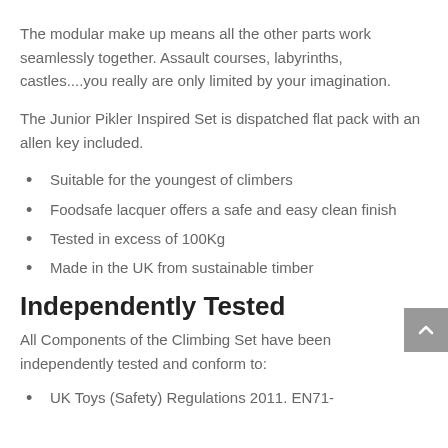The modular make up means all the other parts work seamlessly together. Assault courses, labyrinths, castles....you really are only limited by your imagination.
The Junior Pikler Inspired Set is dispatched flat pack with an allen key included.
Suitable for the youngest of climbers
Foodsafe lacquer offers a safe and easy clean finish
Tested in excess of 100Kg
Made in the UK from sustainable timber
Independently Tested
All Components of the Climbing Set have been independently tested and conform to:
UK Toys (Safety) Regulations 2011. EN71-